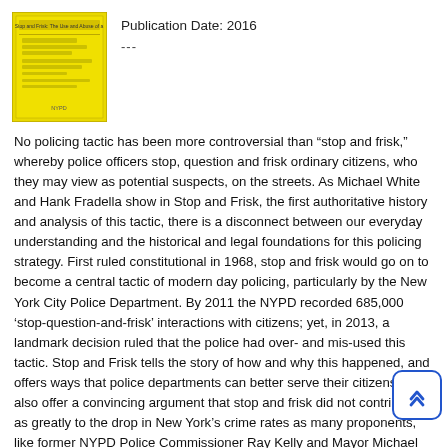[Figure (photo): Yellow book cover image for Stop and Frisk]
Publication Date: 2016
---
No policing tactic has been more controversial than “stop and frisk,” whereby police officers stop, question and frisk ordinary citizens, who they may view as potential suspects, on the streets. As Michael White and Hank Fradella show in Stop and Frisk, the first authoritative history and analysis of this tactic, there is a disconnect between our everyday understanding and the historical and legal foundations for this policing strategy. First ruled constitutional in 1968, stop and frisk would go on to become a central tactic of modern day policing, particularly by the New York City Police Department. By 2011 the NYPD recorded 685,000 ‘stop-question-and-frisk’ interactions with citizens; yet, in 2013, a landmark decision ruled that the police had over- and mis-used this tactic. Stop and Frisk tells the story of how and why this happened, and offers ways that police departments can better serve their citizens. They also offer a convincing argument that stop and frisk did not contribute as greatly to the drop in New York’s crime rates as many proponents, like former NYPD Police Commissioner Ray Kelly and Mayor Michael Bloomberg, have argued.